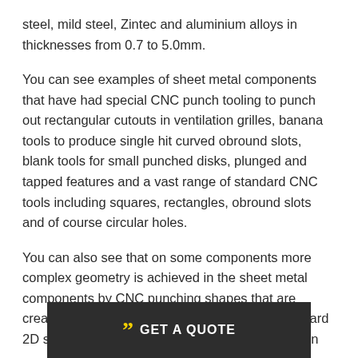steel, mild steel, Zintec and aluminium alloys in thicknesses from 0.7 to 5.0mm.
You can see examples of sheet metal components that have had special CNC punch tooling to punch out rectangular cutouts in ventilation grilles, banana tools to produce single hit curved obround slots, blank tools for small punched disks, plunged and tapped features and a vast range of standard CNC tools including squares, rectangles, obround slots and of course circular holes.
You can also see that on some components more complex geometry is achieved in the sheet metal components by CNC punching shapes that are created by overlapping combinations of the standard 2D shapes. [obscured] ould then have been [obscured] or edge
[Figure (other): Dark grey call-to-action banner with yellow quotation marks and white text reading GET A QUOTE]